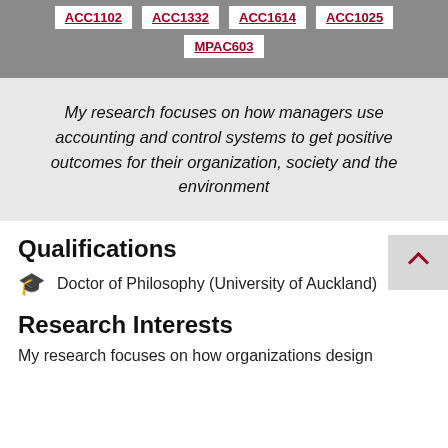ACC1102
ACC1332
ACC1614
ACC1025
MPAC603
My research focuses on how managers use accounting and control systems to get positive outcomes for their organization, society and the environment
Qualifications
Doctor of Philosophy (University of Auckland)
Research Interests
My research focuses on how organizations design